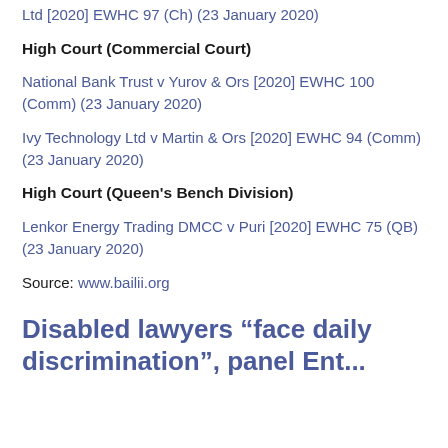Ltd [2020] EWHC 97 (Ch) (23 January 2020)
High Court (Commercial Court)
National Bank Trust v Yurov & Ors [2020] EWHC 100 (Comm) (23 January 2020)
Ivy Technology Ltd v Martin & Ors [2020] EWHC 94 (Comm) (23 January 2020)
High Court (Queen's Bench Division)
Lenkor Energy Trading DMCC v Puri [2020] EWHC 75 (QB) (23 January 2020)
Source: www.bailii.org
Disabled lawyers “face daily discrimination”, panel Ent...